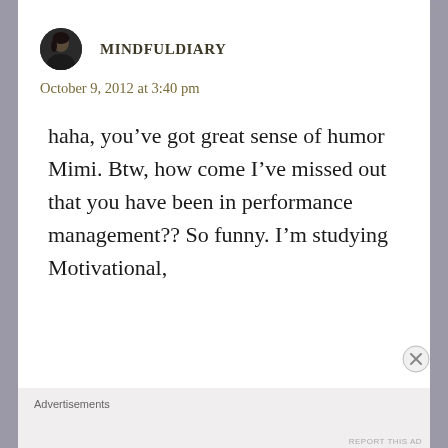REPORT THIS AD
[Figure (photo): Small circular avatar photo of a woman with dark hair against dark background]
MINDFULDIARY
October 9, 2012 at 3:40 pm
haha, you've got great sense of humor Mimi. Btw, how come I've missed out that you have been in performance management?? So funny. I'm studying Motivational,
Advertisements